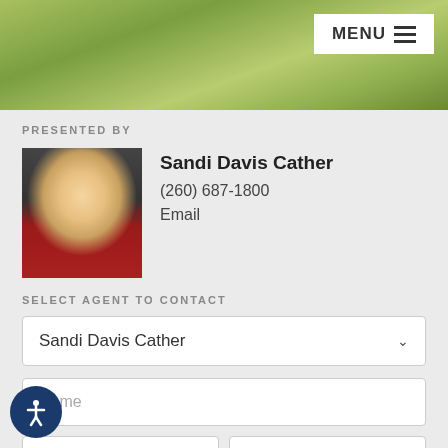[Figure (photo): Hero image of green grass/lawn with MENU button in top-right corner]
PRESENTED BY
[Figure (photo): Headshot photo of Sandi Davis Cather, a woman with short blonde hair wearing a red jacket]
Sandi Davis Cather
(260) 687-1800
Email
SELECT AGENT TO CONTACT
Sandi Davis Cather
Name
Phone
Email
I am interested in the property at 10527 Langworth Court, Fort Wayne, IN 46845